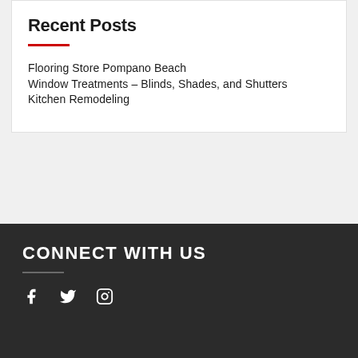Recent Posts
Flooring Store Pompano Beach
Window Treatments – Blinds, Shades, and Shutters
Kitchen Remodeling
CONNECT WITH US
[Figure (other): Social media icons: Facebook, Twitter, Instagram]